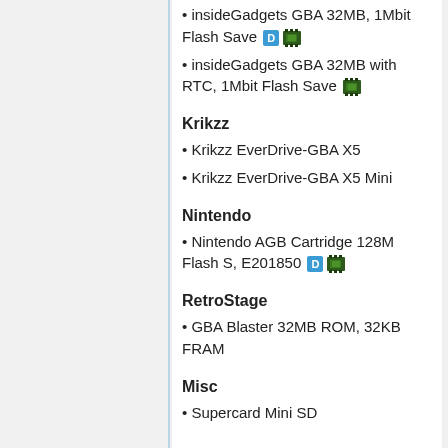insideGadgets GBA 32MB, 1Mbit Flash Save [D] [chip]
insideGadgets GBA 32MB with RTC, 1Mbit Flash Save [chip]
Krikzz
Krikzz EverDrive-GBA X5
Krikzz EverDrive-GBA X5 Mini
Nintendo
Nintendo AGB Cartridge 128M Flash S, E201850 [D] [chip]
RetroStage
GBA Blaster 32MB ROM, 32KB FRAM
Misc
Supercard Mini SD